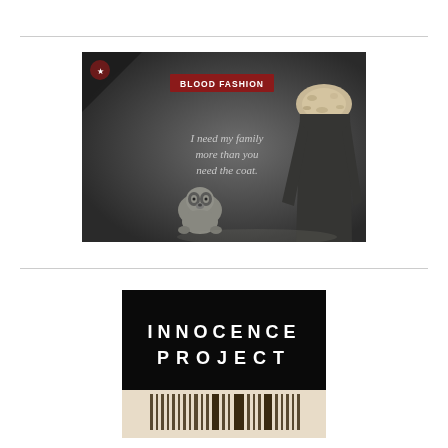[Figure (illustration): Dark advertising image with text 'BLOOD FASHION' in red banner at top center, raccoon animal in lower left, headless figure wearing fur-collared dark coat on right, with text 'I need my family more than you need the coat.' in center]
[Figure (logo): Innocence Project logo: black background with white spaced-out text 'INNOCENCE PROJECT' and barcode-like graphic at bottom on cream/beige background]